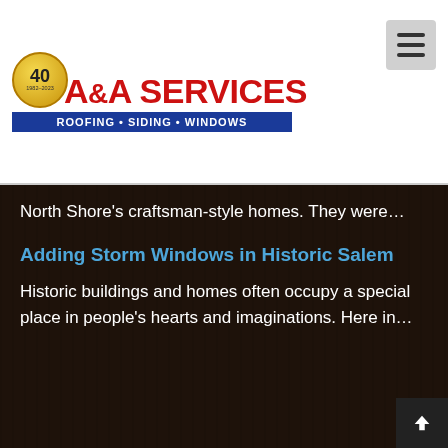[Figure (logo): A&A Services logo with 40-year badge, red text reading A&A SERVICES, and blue banner reading ROOFING · SIDING · WINDOWS]
North Shore's craftsman-style homes. They were…
Adding Storm Windows in Historic Salem
Historic buildings and homes often occupy a special place in people's hearts and imaginations. Here in…